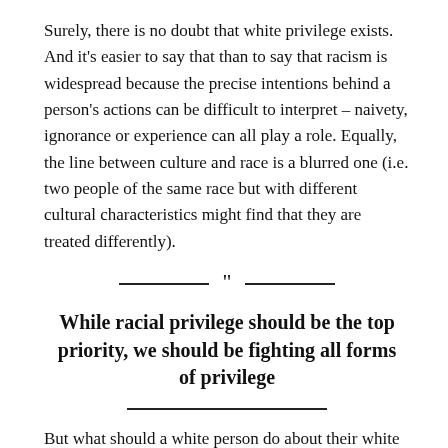Surely, there is no doubt that white privilege exists. And it's easier to say that than to say that racism is widespread because the precise intentions behind a person's actions can be difficult to interpret – naivety, ignorance or experience can all play a role. Equally, the line between culture and race is a blurred one (i.e. two people of the same race but with different cultural characteristics might find that they are treated differently).
While racial privilege should be the top priority, we should be fighting all forms of privilege
But what should a white person do about their white privilege? I am white and middle class with some working class influences (let's say). Born 1982 to liberal atheist parents, I went to fairly mixed schools. My friends were of